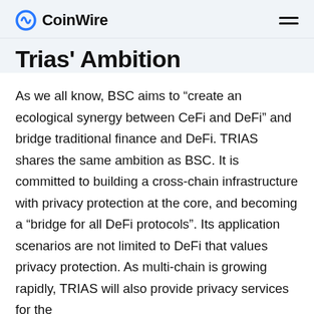CoinWire
Trias' Ambition
As we all know, BSC aims to “create an ecological synergy between CeFi and DeFi” and bridge traditional finance and DeFi. TRIAS shares the same ambition as BSC. It is committed to building a cross-chain infrastructure with privacy protection at the core, and becoming a “bridge for all DeFi protocols”. Its application scenarios are not limited to DeFi that values privacy protection. As multi-chain is growing rapidly, TRIAS will also provide privacy services for the circulation of cross-chain assets and